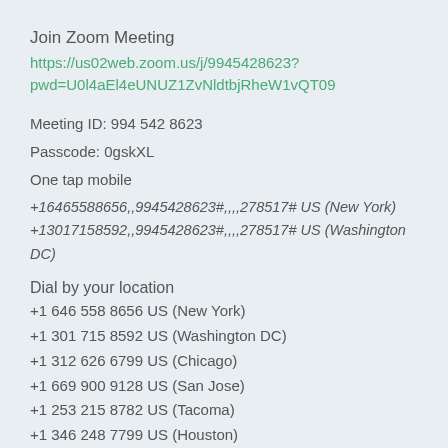Join Zoom Meeting
https://us02web.zoom.us/j/9945428623?
pwd=U0l4aEl4eUNUZ1ZvNldtbjRheW1vQT09
Meeting ID: 994 542 8623
Passcode: 0gskXL
One tap mobile
+16465588656,,9945428623#,,,,278517# US (New York)
+13017158592,,9945428623#,,,,278517# US (Washington DC)
Dial by your location
+1 646 558 8656 US (New York)
+1 301 715 8592 US (Washington DC)
+1 312 626 6799 US (Chicago)
+1 669 900 9128 US (San Jose)
+1 253 215 8782 US (Tacoma)
+1 346 248 7799 US (Houston)